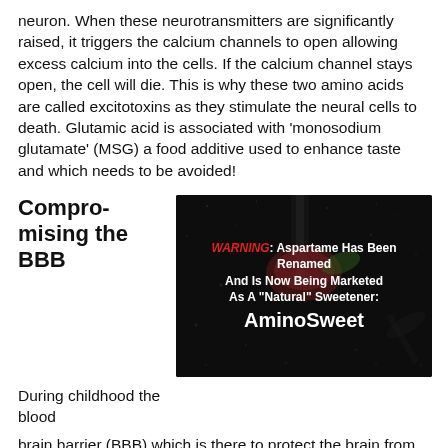neuron. When these neurotransmitters are significantly raised, it triggers the calcium channels to open allowing excess calcium into the cells. If the calcium channel stays open, the cell will die. This is why these two amino acids are called excitotoxins as they stimulate the neural cells to death. Glutamic acid is associated with 'monosodium glutamate' (MSG) a food additive used to enhance taste and which needs to be avoided!
Compromising the BBB
[Figure (photo): Dark background image with splashing water on food, with overlaid text: WARNING: Aspartame Has Been Renamed And Is Now Being Marketed As A "Natural" Sweetener: AminoSweet]
During childhood the blood brain barrier (BBB) which is there to protect the brain from toxins and excess aspartate and glutamate, is not